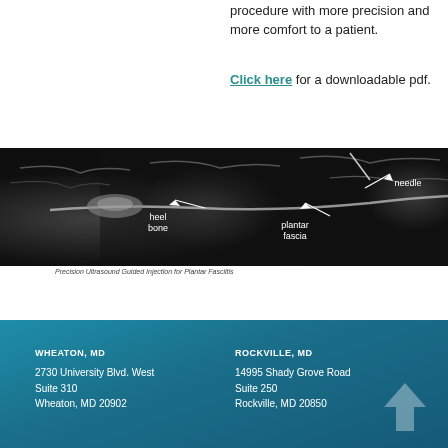procedure with more precision and more comfort to a patient.
Click here for a downloadable pdf.
[Figure (photo): Ultrasound image showing heel bone, plantar fascia, and needle with labeled arrows pointing to each structure. Black and white ultrasound scan.]
Precision Ultrasound Guided Injection for Plantar Fasciitis
WHEATON, MD
2730 University Blvd. West
Suite 310
Wheaton, MD 20902

ROCKVILLE, MD
14995 Shady Grove Road
Suite 250
Rockville, MD 20850